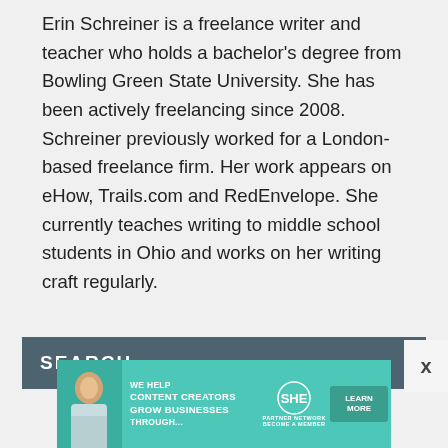Erin Schreiner is a freelance writer and teacher who holds a bachelor's degree from Bowling Green State University. She has been actively freelancing since 2008. Schreiner previously worked for a London-based freelance firm. Her work appears on eHow, Trails.com and RedEnvelope. She currently teaches writing to middle school students in Ohio and works on her writing craft regularly.
SEARCH
[Figure (infographic): SHE Partner Network advertisement banner: 'We help content creators grow businesses through... Learn More / Become a Member']